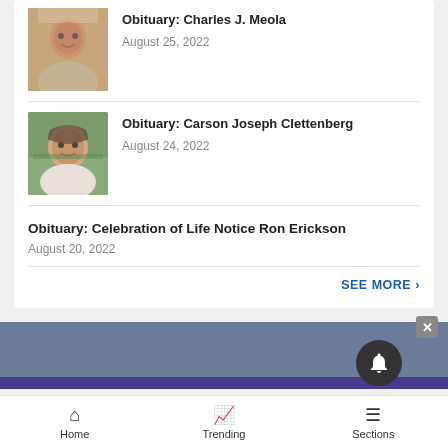Obituary: Charles J. Meola
August 25, 2022
Obituary: Carson Joseph Clettenberg
August 24, 2022
Obituary: Celebration of Life Notice Ron Erickson
August 20, 2022
SEE MORE ›
[Figure (screenshot): Gray section bar with purple stripe below]
Home   Trending   Sections